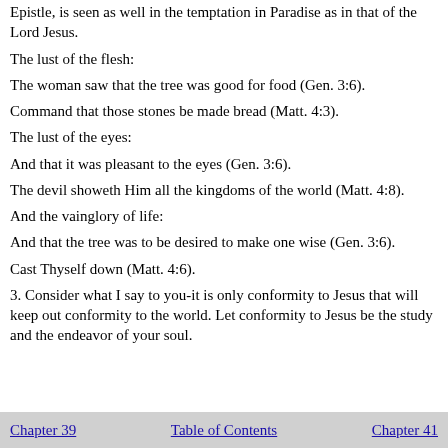Epistle, is seen as well in the temptation in Paradise as in that of the Lord Jesus.
The lust of the flesh:
The woman saw that the tree was good for food (Gen. 3:6).
Command that those stones be made bread (Matt. 4:3).
The lust of the eyes:
And that it was pleasant to the eyes (Gen. 3:6).
The devil showeth Him all the kingdoms of the world (Matt. 4:8).
And the vainglory of life:
And that the tree was to be desired to make one wise (Gen. 3:6).
Cast Thyself down (Matt. 4:6).
3. Consider what I say to you-it is only conformity to Jesus that will keep out conformity to the world. Let conformity to Jesus be the study and the endeavor of your soul.
Chapter 39    Table of Contents    Chapter 41